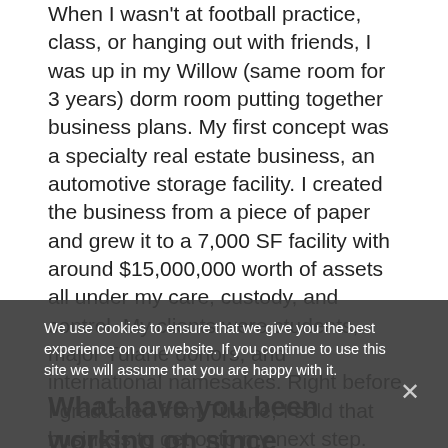When I wasn't at football practice, class, or hanging out with friends, I was up in my Willow (same room for 3 years) dorm room putting together business plans. My first concept was a specialty real estate business, an automotive storage facility. I created the business from a piece of paper and grew it to a 7,000 SF facility with around $15,000,000 worth of assets all under my care, custody, and control. My clients were students, major Tulane donors, and international namesakes. Right before I graduated from Tulane, I sold that business to get onto my next step.
What have you been working on since graduation?
When I graduated from Tulane, I applied and was accepted to the Georgetown Masters Real Estate program. So, I moved myself up to Washington D.C. to start school. Once I moved up there, I was offered my "first" job (working for
We use cookies to ensure that we give you the best experience on our website. If you continue to use this site we will assume that you are happy with it.